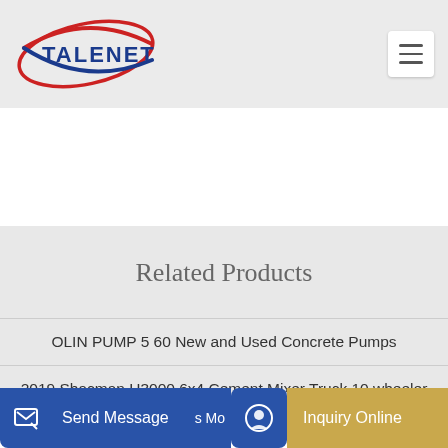[Figure (logo): Talenet company logo with blue text and red/blue swoosh arc]
Related Products
OLIN PUMP 5 60 New and Used Concrete Pumps
2019 Shacman H3000 6x4 Cement Mixer Truck 10 wheeler
Send Message | Inquiry Online